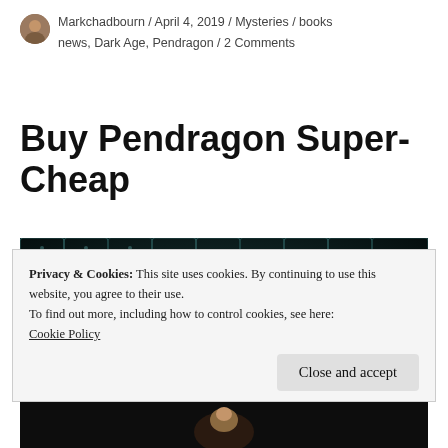Markchadbourn / April 4, 2019 / Mysteries / books news, Dark Age, Pendragon / 2 Comments
Buy Pendragon Super-Cheap
[Figure (photo): Dark medieval armor/scale mail with golden ornamental design in the center, suggesting a fantasy book cover image for Pendragon]
Privacy & Cookies: This site uses cookies. By continuing to use this website, you agree to their use.
To find out more, including how to control cookies, see here: Cookie Policy
Close and accept